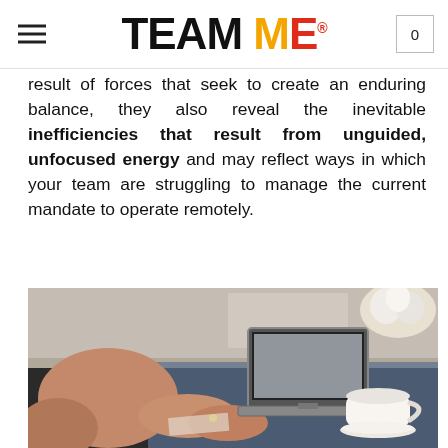TEAM ME
result of forces that seek to create an enduring balance, they also reveal the inevitable inefficiencies that result from unguided, unfocused energy and may reflect ways in which your team are struggling to manage the current mandate to operate remotely.
[Figure (photo): A person working on a laptop at a desk with a white coffee cup and flowers in the background]